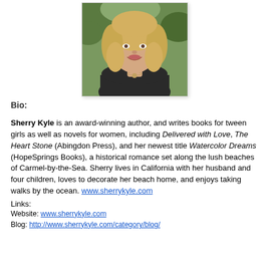[Figure (photo): Headshot of Sherry Kyle, a blonde woman smiling, wearing a dark jacket and necklace, outdoors with green foliage background]
Bio:
Sherry Kyle is an award-winning author, and writes books for tween girls as well as novels for women, including Delivered with Love, The Heart Stone (Abingdon Press), and her newest title Watercolor Dreams (HopeSprings Books), a historical romance set along the lush beaches of Carmel-by-the-Sea. Sherry lives in California with her husband and four children, loves to decorate her beach home, and enjoys taking walks by the ocean. www.sherrykyle.com
Links:
Website: www.sherrykyle.com
Blog: http://www.sherrykyle.com/category/blog/